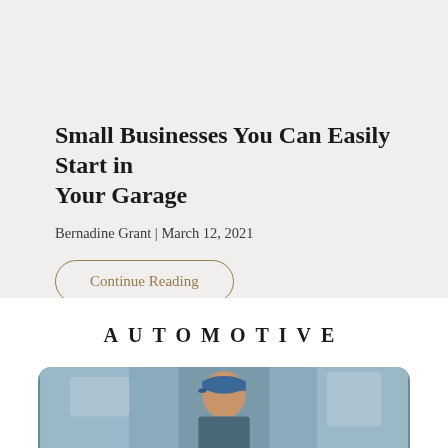Small Businesses You Can Easily Start in Your Garage
Bernadine Grant | March 12, 2021
Continue Reading
AUTOMOTIVE
[Figure (photo): A man wearing a blue cap and work clothes, photographed in what appears to be an automotive/garage setting.]